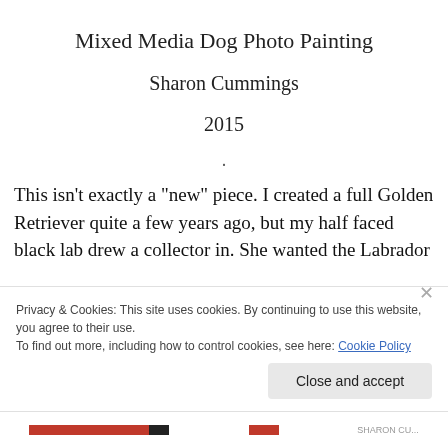Mixed Media Dog Photo Painting
Sharon Cummings
2015
.
This isn’t exactly a “new” piece.  I created a full Golden Retriever quite a few years ago, but my half faced black lab drew a collector in.  She wanted the Labrador
Privacy & Cookies: This site uses cookies. By continuing to use this website, you agree to their use.
To find out more, including how to control cookies, see here: Cookie Policy
Close and accept